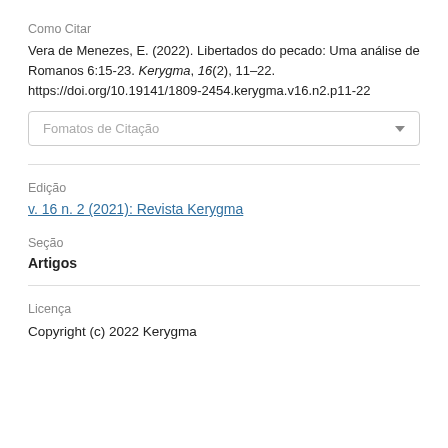Como Citar
Vera de Menezes, E. (2022). Libertados do pecado: Uma análise de Romanos 6:15-23. Kerygma, 16(2), 11–22. https://doi.org/10.19141/1809-2454.kerygma.v16.n2.p11-22
[Figure (other): Dropdown selector labeled 'Fomatos de Citação']
Edição
v. 16 n. 2 (2021): Revista Kerygma
Seção
Artigos
Licença
Copyright (c) 2022 Kerygma